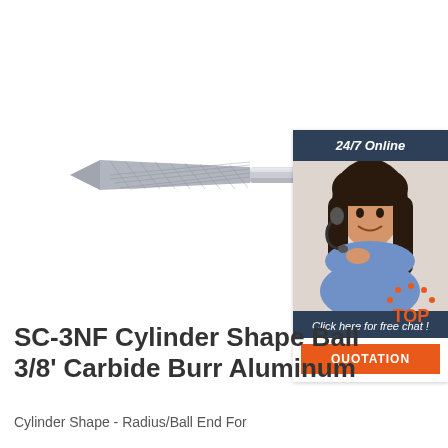[Figure (photo): Carbide burr tool - cylinder shape with pointed/tapered end, metallic silver color, long shank]
[Figure (photo): Customer service representative with headset, smiling, with '24/7 Online' header and 'Click here for free chat! QUOTATION' call to action]
SC-3NF Cylinder Shape Ball 3/8' Carbide Burr Aluminum
Cylinder Shape - Radius/Ball End For